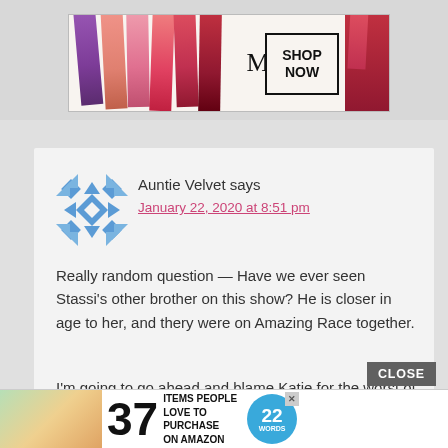[Figure (photo): MAC cosmetics advertisement banner with colorful lipsticks and 'SHOP NOW' box]
Auntie Velvet says
January 22, 2020 at 8:51 pm
Really random question — Have we ever seen Stassi's other brother on this show? He is closer in age to her, and thery were on Amazing Race together.
I'm going to go ahead and blame Katie for the worst of the TomTom fight. She went off and got Stassi and
[Figure (screenshot): Bottom advertisement: 37 Items People Love To Purchase On Amazon, with 22 Words badge]
CLOSE